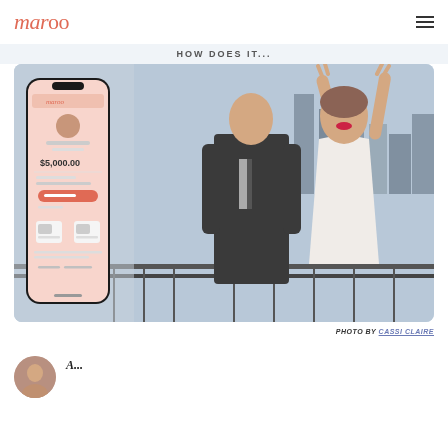maroo (logo with infinity symbol)
HOW DOES IT...
[Figure (photo): Hero composite image showing a happy couple on a rooftop with a city skyline background (man in dark suit, woman in white dress with arms raised), with a smartphone app mockup overlay on the left showing the Maroo wedding planning payment app displaying $5,000.00]
PHOTO BY CASSI CLAIRE
[Figure (photo): Small circular avatar photo at bottom left, partially visible]